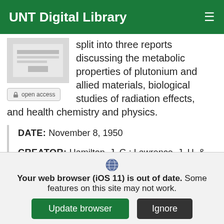UNT Digital Library
[Figure (photo): Thumbnail image of a document page, grayscale]
open access
split into three reports discussing the metabolic properties of plutonium and allied materials, biological studies of radiation effects, and health chemistry and physics.
DATE: November 8, 1950
CREATOR: Hamilton, J. G.; Lawrence, J. H. & Garden, N.
PARTNER: UNT Libraries Government Documents Department
Your web browser (iOS 11) is out of date. Some features on this site may not work.